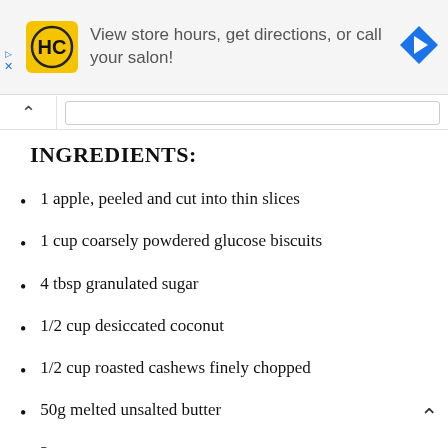[Figure (other): Advertisement banner for a hair salon (HC logo) with text 'View store hours, get directions, or call your salon!' and a blue navigation arrow icon]
INGREDIENTS:
1 apple, peeled and cut into thin slices
1 cup coarsely powdered glucose biscuits
4 tbsp granulated sugar
1/2 cup desiccated coconut
1/2 cup roasted cashews finely chopped
50g melted unsalted butter
2 tsp caster sugar